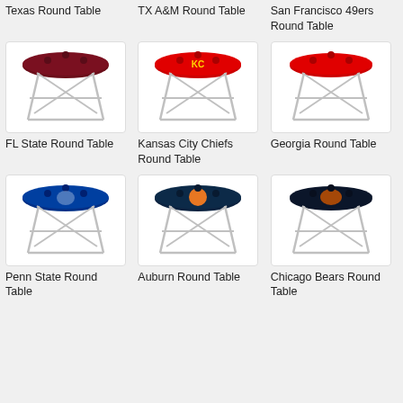Texas Round Table
TX A&M Round Table
San Francisco 49ers Round Table
[Figure (photo): FL State Round Table - folding round table with dark red/maroon top with team logo]
FL State Round Table
[Figure (photo): Kansas City Chiefs Round Table - folding round table with red top and Chiefs logo]
Kansas City Chiefs Round Table
[Figure (photo): Georgia Round Table - folding round table with red top and Georgia logo]
Georgia Round Table
[Figure (photo): Penn State Round Table - folding round table with navy blue top and Penn State logo]
Penn State Round Table
[Figure (photo): Auburn Round Table - folding round table with dark navy/brown top and Auburn tiger logo]
Auburn Round Table
[Figure (photo): Chicago Bears Round Table - folding round table with dark navy top and Bears logo]
Chicago Bears Round Table